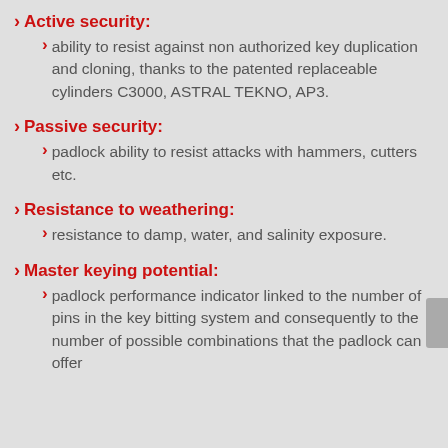Active security:
ability to resist against non authorized key duplication and cloning, thanks to the patented replaceable cylinders C3000, ASTRAL TEKNO, AP3.
Passive security:
padlock ability to resist attacks with hammers, cutters etc.
Resistance to weathering:
resistance to damp, water, and salinity exposure.
Master keying potential:
padlock performance indicator linked to the number of pins in the key bitting system and consequently to the number of possible combinations that the padlock can offer